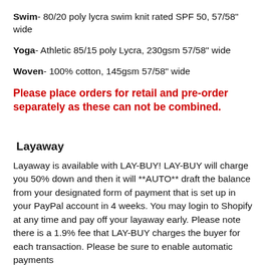Swim- 80/20 poly lycra swim knit rated SPF 50, 57/58" wide
Yoga- Athletic 85/15 poly Lycra, 230gsm 57/58" wide
Woven- 100% cotton, 145gsm 57/58" wide
Please place orders for retail and pre-order separately as these can not be combined.
Layaway
Layaway is available with LAY-BUY! LAY-BUY will charge you 50% down and then it will **AUTO** draft the balance from your designated form of payment that is set up in your PayPal account in 4 weeks. You may login to Shopify at any time and pay off your layaway early. Please note there is a 1.9% fee that LAY-BUY charges the buyer for each transaction. Please be sure to enable automatic payments